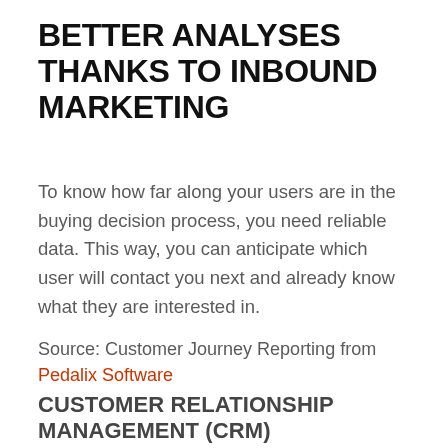BETTER ANALYSES THANKS TO INBOUND MARKETING
To know how far along your users are in the buying decision process, you need reliable data. This way, you can anticipate which user will contact you next and already know what they are interested in.
Source: Customer Journey Reporting from Pedalix Software
CUSTOMER RELATIONSHIP MANAGEMENT (CRM)